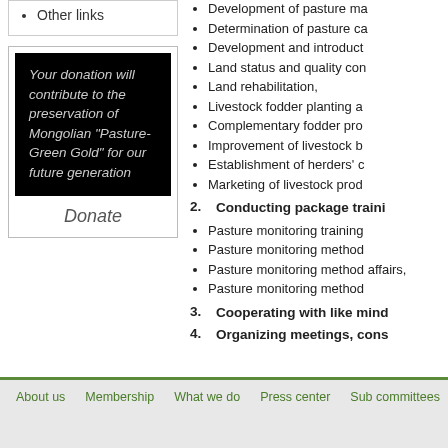Other links
Your donation will contribute to the preservation of Mongolian "Pasture-Green Gold" for our future generation
Donate
Development of pasture ma
Determination of pasture ca
Development and introduct
Land status and quality con
Land rehabilitation,
Livestock fodder planting a
Complementary fodder pro
Improvement of livestock b
Establishment of herders' c
Marketing of livestock prod
Conducting package traini
Pasture monitoring training
Pasture monitoring method
Pasture monitoring method affairs,
Pasture monitoring method
Cooperating with like mind
Organizing meetings, cons
About us   Membership   What we do   Press center   Sub committees